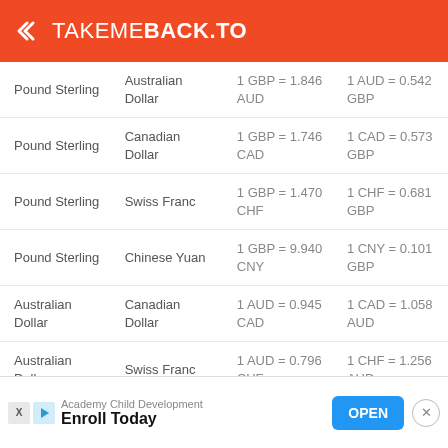TAKEMEBACK.TO
| From | To | Rate 1 | Rate 2 |
| --- | --- | --- | --- |
| Pound Sterling | Australian Dollar | 1 GBP = 1.846 AUD | 1 AUD = 0.542 GBP |
| Pound Sterling | Canadian Dollar | 1 GBP = 1.746 CAD | 1 CAD = 0.573 GBP |
| Pound Sterling | Swiss Franc | 1 GBP = 1.470 CHF | 1 CHF = 0.681 GBP |
| Pound Sterling | Chinese Yuan | 1 GBP = 9.940 CNY | 1 CNY = 0.101 GBP |
| Australian Dollar | Canadian Dollar | 1 AUD = 0.945 CAD | 1 CAD = 1.058 AUD |
| Australian Dollar | Swiss Franc | 1 AUD = 0.796 CHF | 1 CHF = 1.256 AUD |
| Australian Dollar | Chinese Yuan | 1 AUD = 5.377 CNY | 1 CNY = 0.186 AUD |
| Canadian Dollar | Swiss Franc | 1 CAD = 0.842 CHF | 1 CHF = 1.188 CAD |
| Canadian Dollar | Chinese Yuan | 1 CAD = ... | 1 CNY = 0.176 ... |
Academy Child Development — Enroll Today — OPEN